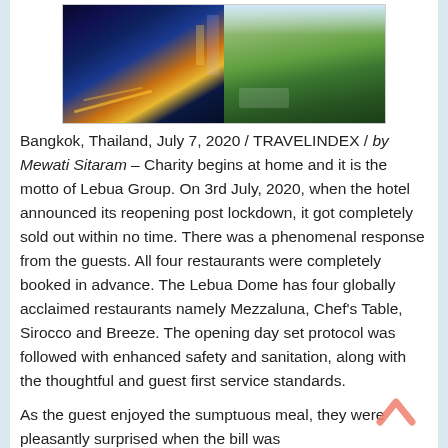[Figure (photo): Two side-by-side photos: left shows Bangkok city skyline at night with illuminated highways and skyscrapers, right shows a rooftop restaurant or garden with lush greenery.]
Bangkok, Thailand, July 7, 2020 / TRAVELINDEX / by Mewati Sitaram – Charity begins at home and it is the motto of Lebua Group. On 3rd July, 2020, when the hotel announced its reopening post lockdown, it got completely sold out within no time. There was a phenomenal response from the guests. All four restaurants were completely booked in advance. The Lebua Dome has four globally acclaimed restaurants namely Mezzaluna, Chef's Table, Sirocco and Breeze. The opening day set protocol was followed with enhanced safety and sanitation, along with the thoughtful and guest first service standards.
As the guest enjoyed the sumptuous meal, they were pleasantly surprised when the bill was